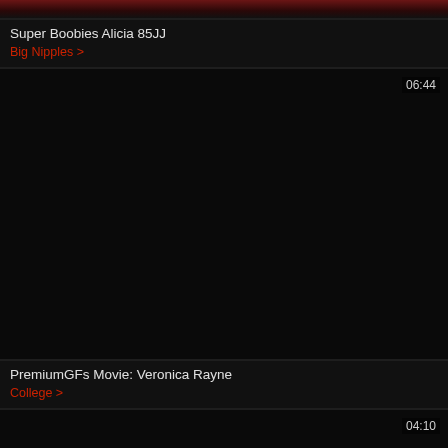[Figure (screenshot): Partial thumbnail of a video at the top of the page, showing a dark reddish image cropped]
Super Boobies Alicia 85JJ
Big Nipples >
[Figure (screenshot): Black/dark video thumbnail with duration 06:44 shown in top-right corner]
PremiumGFs Movie: Veronica Rayne
College >
[Figure (screenshot): Black/dark video thumbnail with duration 04:10 shown in top-right corner, partially visible at bottom of page]